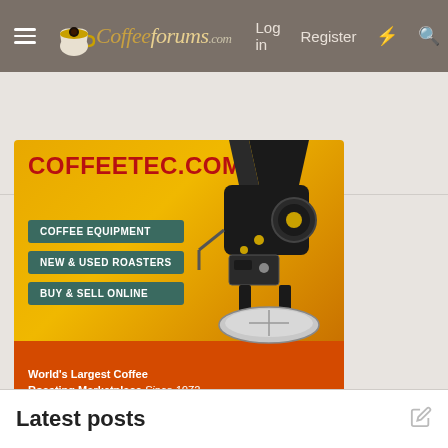CoffeeForums.com — Log in  Register
Share:
[Figure (screenshot): Advertisement banner for CoffeeTec.com showing a coffee roasting machine on an orange/yellow background. Text reads: COFFEETEC.COM, COFFEE EQUIPMENT, NEW & USED ROASTERS, BUY & SELL ONLINE, World's Largest Coffee Roasting Marketplace Since 1972]
Latest posts